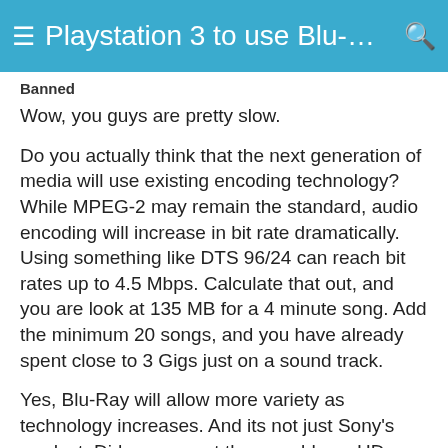≡ Playstation 3 to use Blu-Ray me... 🔍
Banned
Wow, you guys are pretty slow.
Do you actually think that the next generation of media will use existing encoding technology? While MPEG-2 may remain the standard, audio encoding will increase in bit rate dramatically. Using something like DTS 96/24 can reach bit rates up to 4.5 Mbps. Calculate that out, and you are look at 135 MB for a 4 minute song. Add the minimum 20 songs, and you have already spent close to 3 Gigs just on a sound track.
Yes, Blu-Ray will allow more variety as technology increases. And its not just Sony's product. Did you expect they would use HD-DVD when they already pumped so much money into Blu-Ray? Of course not. But why would they spend the extra money unless it was useful? Sure, it will help them distribute Blu-Ray as the next generation of media, but it actually does give Blu-Ray its Sony...